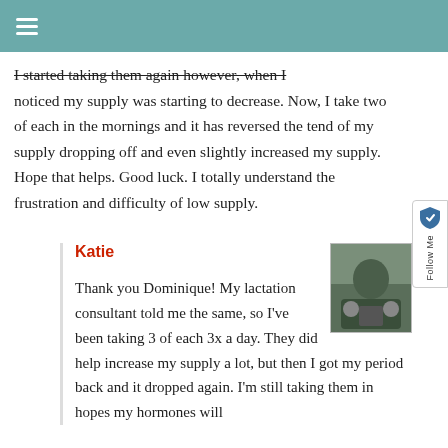≡
I started taking them again however, when I noticed my supply was starting to decrease. Now, I take two of each in the mornings and it has reversed the tend of my supply dropping off and even slightly increased my supply. Hope that helps. Good luck. I totally understand the frustration and difficulty of low supply.
Katie
Thank you Dominique! My lactation consultant told me the same, so I've been taking 3 of each 3x a day. They did help increase my supply a lot, but then I got my period back and it dropped again. I'm still taking them in hopes my hormones will